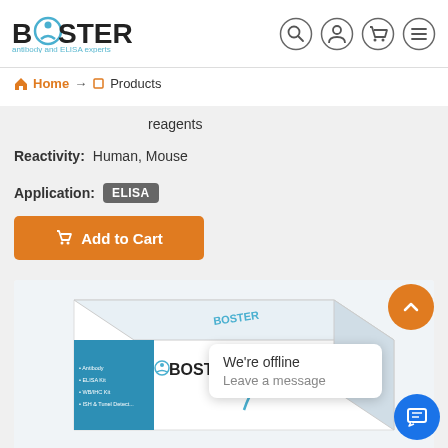[Figure (logo): Boster antibody and ELISA experts logo with blue circular icon]
[Figure (screenshot): Navigation icons: search, account, cart, menu in circles]
Home → Products
reagents
Reactivity: Human, Mouse
Application: ELISA
Add to Cart
[Figure (photo): Boster ELISA kit product box, white with blue design, showing Boster logo and product list]
We're offline
Leave a message